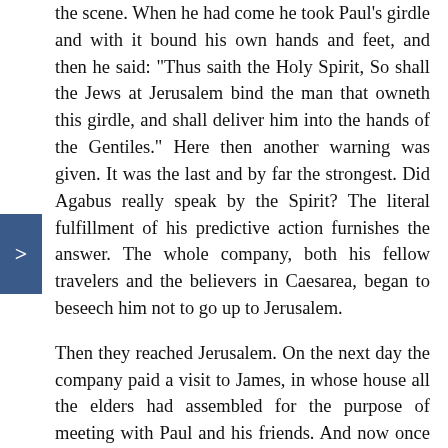the scene. When he had come he took Paul's girdle and with it bound his own hands and feet, and then he said: "Thus saith the Holy Spirit, So shall the Jews at Jerusalem bind the man that owneth this girdle, and shall deliver him into the hands of the Gentiles." Here then another warning was given. It was the last and by far the strongest. Did Agabus really speak by the Spirit? The literal fulfillment of his predictive action furnishes the answer. The whole company, both his fellow travelers and the believers in Caesarea, began to beseech him not to go up to Jerusalem.
Then they reached Jerusalem. On the next day the company paid a visit to James, in whose house all the elders had assembled for the purpose of meeting with Paul and his friends. And now once more the Apostle relates what no doubt was dearest to the hearts of James and the elders, what God had wrought through His God-given ministry among the Gentiles. It must have been a very lengthy account; for he rehearsed particularly, "or one by one," the things which had happened in His great activity. After Paul had spoken,